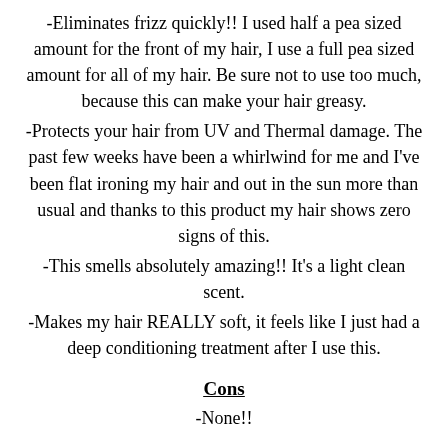-Eliminates frizz quickly!! I used half a pea sized amount for the front of my hair, I use a full pea sized amount for all of my hair. Be sure not to use too much, because this can make your hair greasy.
-Protects your hair from UV and Thermal damage. The past few weeks have been a whirlwind for me and I've been flat ironing my hair and out in the sun more than usual and thanks to this product my hair shows zero signs of this.
-This smells absolutely amazing!! It's a light clean scent.
-Makes my hair REALLY soft, it feels like I just had a deep conditioning treatment after I use this.
Cons
-None!!
So how well does this work..?? Let me show you!! This was me this am, yes I look miserable in the pictures – I